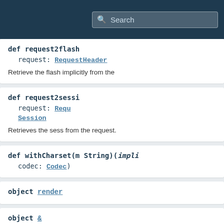Search
def request2flash
  request: RequestHeader
  Retrieve the flash implicitly from the
def request2sessi
  request: Requ Session
  Retrieves the sess from the request.
def withCharset(m String)(impli codec: Codec)
object render
object &
  Convenient extractor allowing to